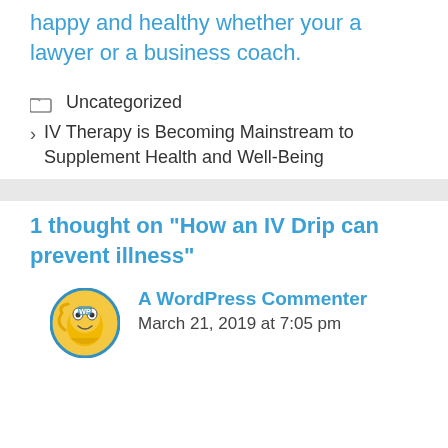happy and healthy whether your a lawyer or a business coach.
Uncategorized
IV Therapy is Becoming Mainstream to Supplement Health and Well-Being
1 thought on “How an IV Drip can prevent illness”
A WordPress Commenter
March 21, 2019 at 7:05 pm